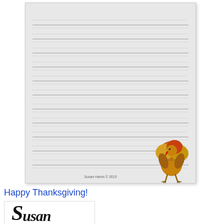[Figure (illustration): A lined writing paper (grey background with horizontal ruled lines) featuring a cartoon turkey illustration in the bottom right corner, and a copyright notice reading 'Susan Harris © 2015' at the bottom center.]
Happy Thanksgiving!
[Figure (illustration): Handwritten cursive signature reading 'Susan' in black ink on white background inside a rectangular border.]